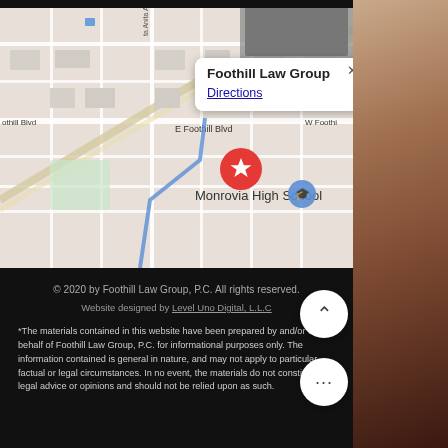[Figure (map): Google Maps screenshot showing Foothill Law Group location near E Foothill Blvd and Monrovia High School, with a red star map pin marker and an info popup showing 'Foothill Law Group' and 'Directions' link]
© 2020 by Foothill Law Group, P.C. All rights reserved.
Website designed by Level Uno Digital, L.L.C
*The materials contained in this website have been prepared by and/or on behalf of Foothill Law Group, P.C. for informational purposes only. The information contained is general in nature, and may not apply to particular factual or legal circumstances. In no event, the materials do not constitute legal advice or opinions and should not be relied upon as such.
[Figure (photo): Right side strip showing partial view of a person with brown/auburn hair, side profile]